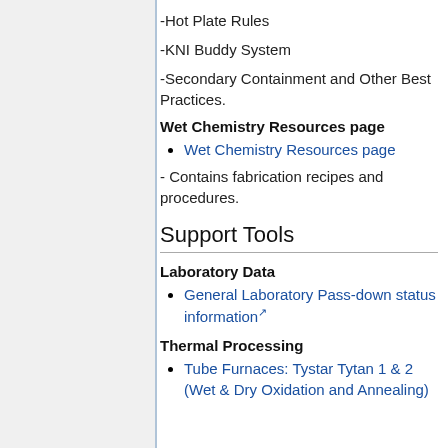-Hot Plate Rules
-KNI Buddy System
-Secondary Containment and Other Best Practices.
Wet Chemistry Resources page
Wet Chemistry Resources page
- Contains fabrication recipes and procedures.
Support Tools
Laboratory Data
General Laboratory Pass-down status information
Thermal Processing
Tube Furnaces: Tystar Tytan 1 & 2 (Wet & Dry Oxidation and Annealing)